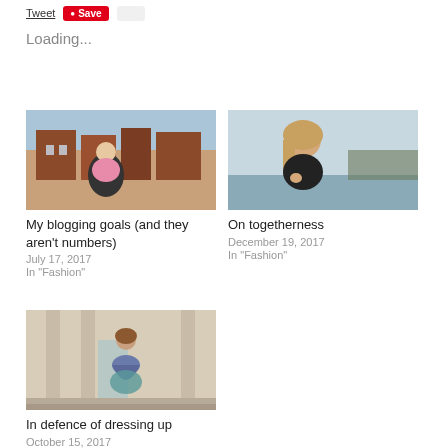Tweet | Save | Share
Loading...
[Figure (photo): Woman in pink top sitting on rooftop with brick buildings behind her]
My blogging goals (and they aren't numbers)
July 17, 2017
In "Fashion"
[Figure (photo): Blonde woman in black top outdoors near a lake]
On togetherness
December 19, 2017
In "Fashion"
[Figure (photo): Woman in floral dress standing on steps of a building with columns]
In defence of dressing up
October 15, 2017
In "Fashion"